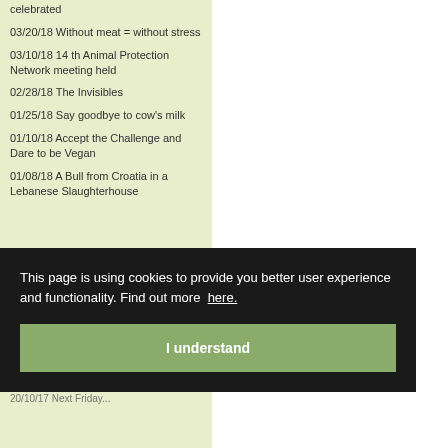celebrated
03/20/18 Without meat = without stress
03/10/18 14 th Animal Protection Network meeting held
02/28/18 The Invisibles
01/25/18 Say goodbye to cow's milk
01/10/18 Accept the Challenge and Dare to be Vegan
01/08/18 A Bull from Croatia in a Lebanese Slaughterhouse
This page is using cookies to provide you better user experience and functionality. Find out more here.
I understand